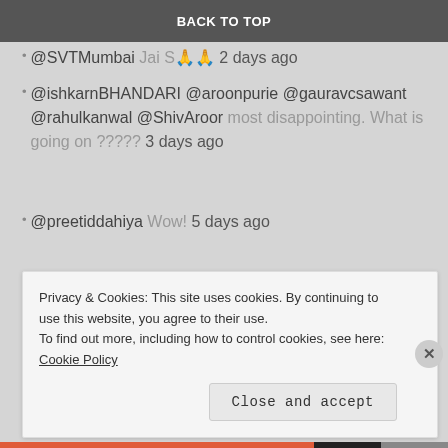BACK TO TOP
@SVTMumbai Jai S... 2 days ago
@ishkarnBHANDARI @aroonpurie @gauravcsawant @rahulkanwal @ShivAroor most disappointing. What is going on ????? 3 days ago
@preetiddahiya Wow! 5 days ago
Catch Me on Instagram
No Instagram images were found.
Blogroll
Privacy & Cookies: This site uses cookies. By continuing to use this website, you agree to their use.
To find out more, including how to control cookies, see here: Cookie Policy
Close and accept